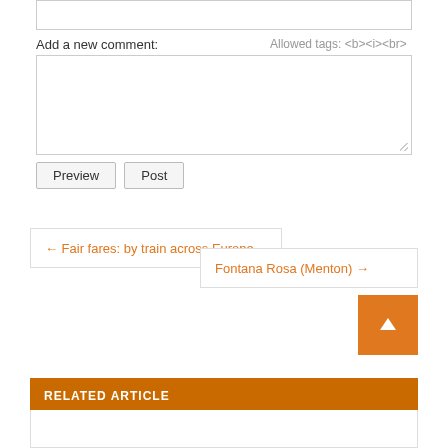Add a new comment:
Allowed tags: <b><i><br>
[Figure (screenshot): Large textarea input box for adding a new comment]
Preview   Post
← Fair fares: by train across Europe
Fontana Rosa (Menton) →
[Figure (other): Orange scroll-to-top button with upward arrow]
RELATED ARTICLE